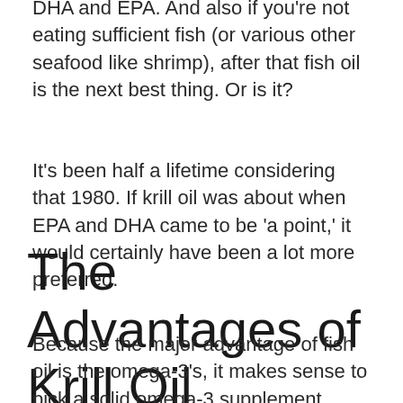DHA and EPA. And also if you're not eating sufficient fish (or various other seafood like shrimp), after that fish oil is the next best thing. Or is it?
It's been half a lifetime considering that 1980. If krill oil was about when EPA and DHA came to be 'a point,' it would certainly have been a lot more preferred.
The Advantages of Krill Oil
Because the major advantage of fish oil is the omega-3's, it makes sense to pick a solid omega-3 supplement, right? For a nutritional supplement to be solid, your